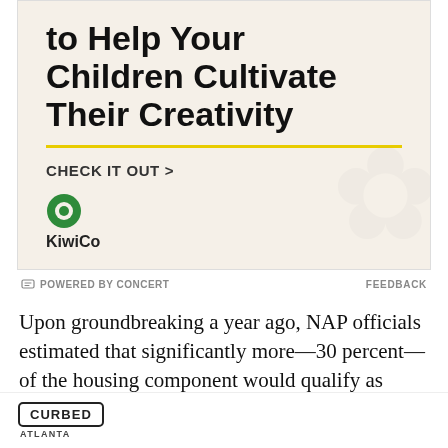[Figure (illustration): KiwiCo advertisement with cream/beige background showing partial headline 'to Help Your Children Cultivate Their Creativity', a yellow horizontal line, 'CHECK IT OUT >' text, and KiwiCo logo with green circle icon]
POWERED BY CONCERT   FEEDBACK
Upon groundbreaking a year ago, NAP officials estimated that significantly more—30 percent—of the housing component would qualify as “affordable.”
UPDATE: An NAP rep sends the following in reference
CURBED ATLANTA